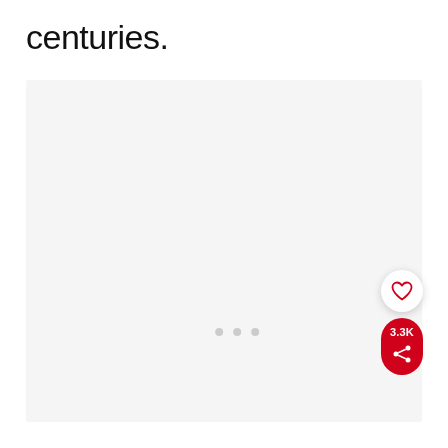centuries.
[Figure (photo): Large light gray image placeholder area occupying most of the page]
[Figure (infographic): UI overlay: heart/like button (white circle), share pill (red, shows 3.3K count and share icon), and 'What's Next' card showing '15 Beautiful Alberta Roa...' with thumbnail]